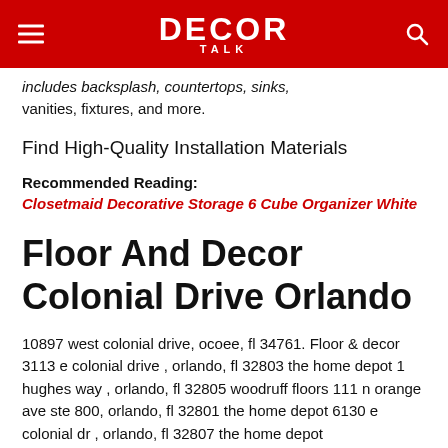DECOR TALK
includes backsplash, countertops, sinks, vanities, fixtures, and more.
Find High-Quality Installation Materials
Recommended Reading:
Closetmaid Decorative Storage 6 Cube Organizer White
Floor And Decor Colonial Drive Orlando
10897 west colonial drive, ocoee, fl 34761. Floor & decor 3113 e colonial drive , orlando, fl 32803 the home depot 1 hughes way , orlando, fl 32805 woodruff floors 111 n orange ave ste 800, orlando, fl 32801 the home depot 6130 e colonial dr , orlando, fl 32807 the home depot